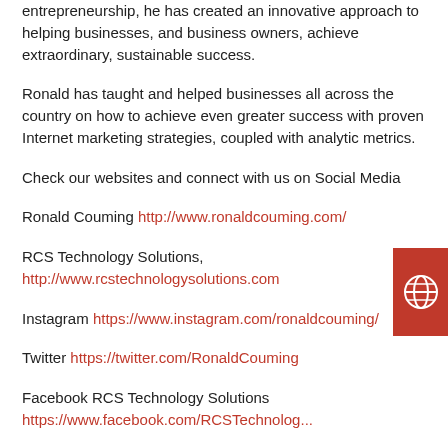entrepreneurship, he has created an innovative approach to helping businesses, and business owners, achieve extraordinary, sustainable success.
Ronald has taught and helped businesses all across the country on how to achieve even greater success with proven Internet marketing strategies, coupled with analytic metrics.
Check our websites and connect with us on Social Media
Ronald Couming http://www.ronaldcouming.com/
RCS Technology Solutions, http://www.rcstechnologysolutions.com
Instagram https://www.instagram.com/ronaldcouming/
Twitter https://twitter.com/RonaldCouming
Facebook RCS Technology Solutions https://www.facebook.com/RCSTechnolog...
Facebook RCS Online Solutions https://www.facebook.com/rcsonlinesol...
Facebook Ronald Couming